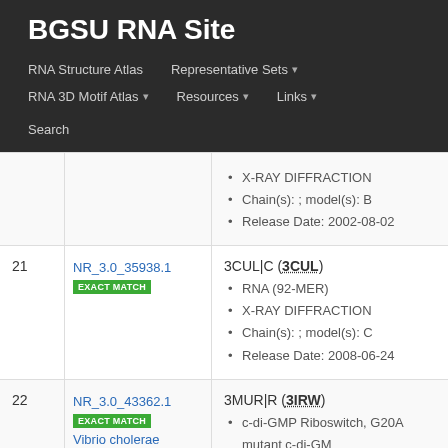BGSU RNA Site
RNA Structure Atlas | Representative Sets ▾ | RNA 3D Motif Atlas ▾ | Resources ▾ | Links ▾ | Search
X-RAY DIFFRACTION
Chain(s): ; model(s): B
Release Date: 2002-08-02
| # | ID | Details |
| --- | --- | --- |
| 21 | NR_3.0_35938.1 EXACT MATCH | 3CUL|C (3CUL)
• RNA (92-MER)
• X-RAY DIFFRACTION
• Chain(s): ; model(s): C
• Release Date: 2008-06-24 |
| 22 | NR_3.0_43362.1 EXACT MATCH Vibrio cholerae | 3MUR|R (3IRW)
• c-di-GMP Riboswitch, G20A mutant c-di-GM
• X-RAY DIFFRACTION
• Chain(s): ; model(s): R
• Release Date: 2009-11-10 |